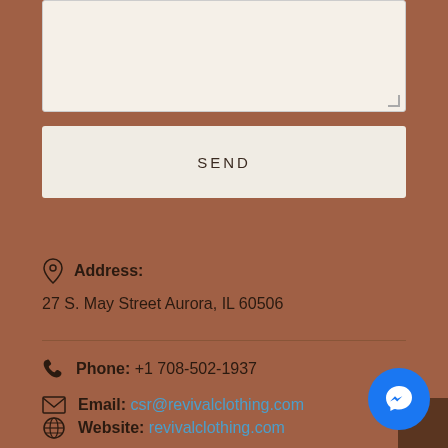[Figure (screenshot): Text input textarea box at top of contact form]
SEND
Address: 27 S. May Street Aurora, IL 60506
Phone: +1 708-502-1937
Email: csr@revivalclothing.com
Website: revivalclothing.com